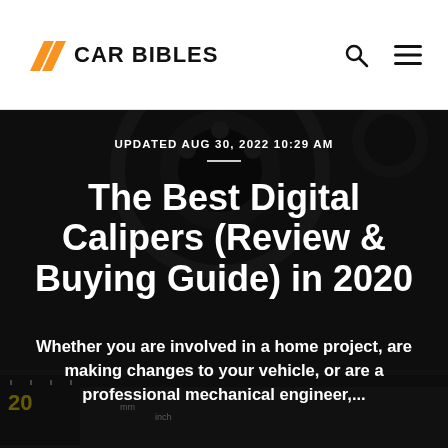[Figure (logo): Car Bibles logo with orange angular chevron icon and bold black uppercase text 'CAR BIBLES']
[Figure (other): Search icon (magnifying glass) and hamburger menu icon in the top navigation bar]
[Figure (photo): Dark background photo of digital calipers / mechanical engineering measurement tool, showing circular disc brake caliper and caliper measurement scale with yellow markings showing 'mm' and 'inch' units and number 20]
UPDATED AUG 30, 2022 10:29 AM
The Best Digital Calipers (Review & Buying Guide) in 2020
Whether you are involved in a home project, are making changes to your vehicle, or are a professional mechanical engineer,...